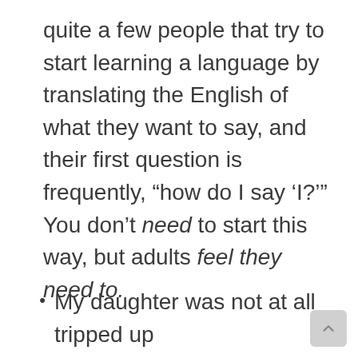quite a few people that try to start learning a language by translating the English of what they want to say, and their first question is frequently, “how do I say ‘I?’” You don’t need to start this way, but adults feel they need to.
My daughter was not at all tripped up